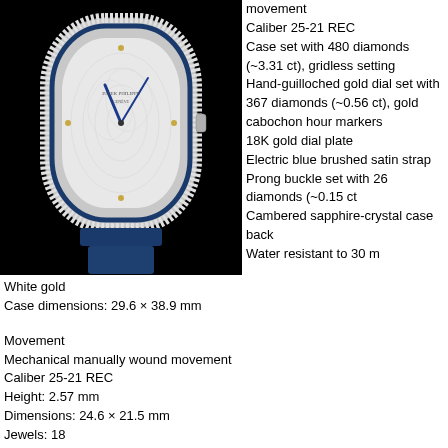[Figure (photo): Patek Philippe watch with diamond-set white gold case, guilloched dial with diamonds, blue hands, and electric blue satin strap, shown against black background]
movement
Caliber 25-21 REC
Case set with 480 diamonds (~3.31 ct), gridless setting
Hand-guilloched gold dial set with 367 diamonds (~0.56 ct), gold cabochon hour markers
18K gold dial plate
Electric blue brushed satin strap
Prong buckle set with 26 diamonds (~0.15 ct
Cambered sapphire-crystal case back
Water resistant to 30 m
White gold
Case dimensions: 29.6 × 38.9 mm
Movement
Mechanical manually wound movement
Caliber 25-21 REC
Height: 2.57 mm
Dimensions: 24.6 × 21.5 mm
Jewels: 18
Bridges: 7